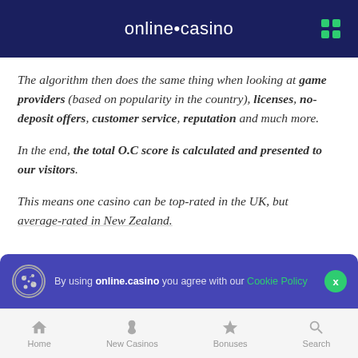online•casino
The algorithm then does the same thing when looking at game providers (based on popularity in the country), licenses, no-deposit offers, customer service, reputation and much more.
In the end, the total O.C score is calculated and presented to our visitors.
This means one casino can be top-rated in the UK, but average-rated in New Zealand.
By using online.casino you agree with our Cookie Policy
Home   New Casinos   Bonuses   Search